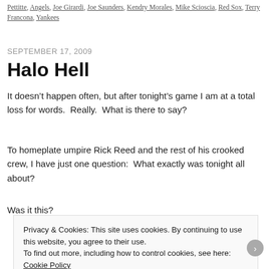Pettitte, Angels, Joe Girardi, Joe Saunders, Kendry Morales, Mike Scioscia, Red Sox, Terry Francona, Yankees
SEPTEMBER 17, 2009
Halo Hell
It doesn’t happen often, but after tonight’s game I am at a total loss for words.  Really.  What is there to say?
To homeplate umpire Rick Reed and the rest of his crooked crew, I have just one question:  What exactly was tonight all about?
Was it this?
Privacy & Cookies: This site uses cookies. By continuing to use this website, you agree to their use.
To find out more, including how to control cookies, see here: Cookie Policy
Close and accept